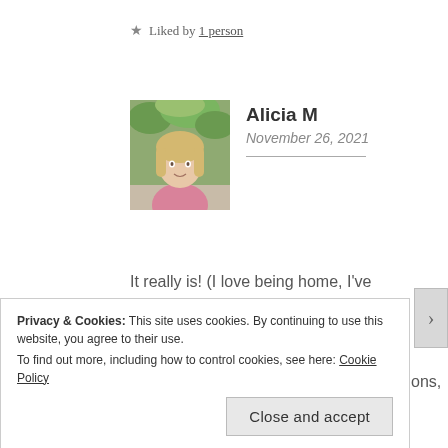★ Liked by 1 person
[Figure (photo): Profile photo of Alicia M, a young woman with long blonde hair, outdoors with greenery in background]
Alicia M
November 26, 2021
It really is! (I love being home, I've realized that more and more as I've gotten older!)
Great!! (Now to come up with the questions,
Privacy & Cookies: This site uses cookies. By continuing to use this website, you agree to their use.
To find out more, including how to control cookies, see here: Cookie Policy
Close and accept